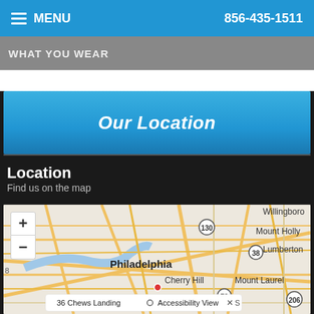≡ MENU   856-435-1511
WHAT YOU WEAR
Our Location
Location
Find us on the map
[Figure (map): Street map showing Philadelphia area including Cherry Hill, Mount Laurel, Mount Holly, Lumberton, Willingboro. Route markers 130, 38, 70, 206 visible. Map shows road network with zoom controls (+/-). Address tooltip shows '36 Chews Landing' with Accessibility View option.]